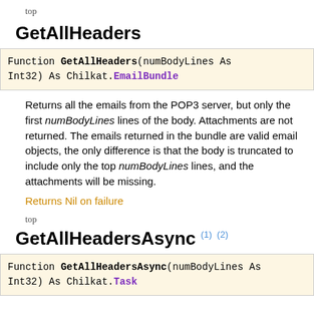top
GetAllHeaders
Function GetAllHeaders(numBodyLines As Int32) As Chilkat.EmailBundle
Returns all the emails from the POP3 server, but only the first numBodyLines lines of the body. Attachments are not returned. The emails returned in the bundle are valid email objects, the only difference is that the body is truncated to include only the top numBodyLines lines, and the attachments will be missing.
Returns Nil on failure
top
GetAllHeadersAsync (1) (2)
Function GetAllHeadersAsync(numBodyLines As Int32) As Chilkat.Task